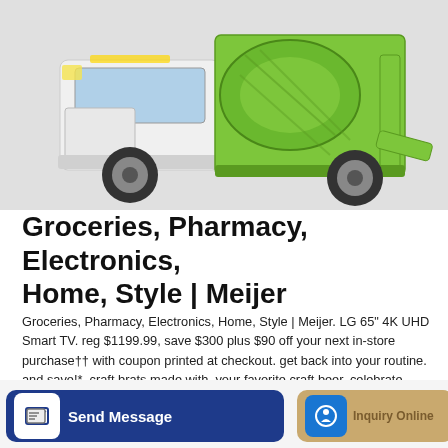[Figure (photo): A white and lime-green concrete mixer truck photographed against a light gray background, showing the cab and rotating drum.]
Groceries, Pharmacy, Electronics, Home, Style | Meijer
Groceries, Pharmacy, Electronics, Home, Style | Meijer. LG 65" 4K UHD Smart TV. reg $1199.99, save $300 plus $90 off your next in-store purchase†† with coupon printed at checkout. get back into your routine. and save!*. craft brats made with. your favorite craft beer. celebrate bourbon heritage.
Learn More
Send Message
Inquiry Online